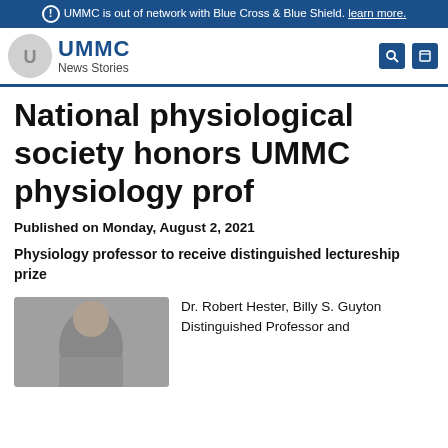UMMC is out of network with Blue Cross & Blue Shield. learn more.
[Figure (logo): UMMC News Stories logo with circular icon]
National physiological society honors UMMC physiology prof
Published on Monday, August 2, 2021
Physiology professor to receive distinguished lectureship prize
[Figure (photo): Portrait photo of Dr. Robert Hester]
Dr. Robert Hester, Billy S. Guyton Distinguished Professor and